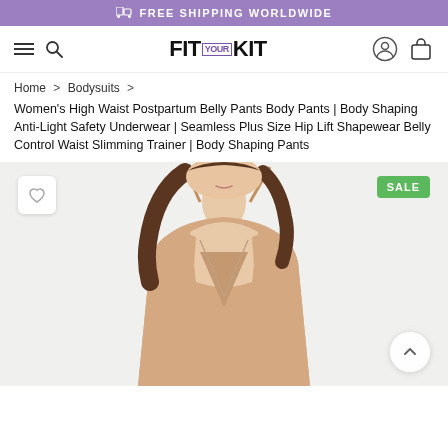FREE SHIPPING WORLDWIDE
[Figure (screenshot): Navigation bar with hamburger menu, search icon, FIT KIT logo, user account icon, and shopping bag icon]
Home > Bodysuits >
Women's High Waist Postpartum Belly Pants Body Pants | Body Shaping Anti-Light Safety Underwear | Seamless Plus Size Hip Lift Shapewear Belly Control Waist Slimming Trainer | Body Shaping Pants
[Figure (photo): Product photo of a woman wearing a nude/beige bodysuit shapewear. The model is shown from mid-torso up, with long brown hair. The garment has thin shoulder straps and a deep V-front design. A SALE badge is visible in the top right corner and a heart/wishlist button in the top left.]